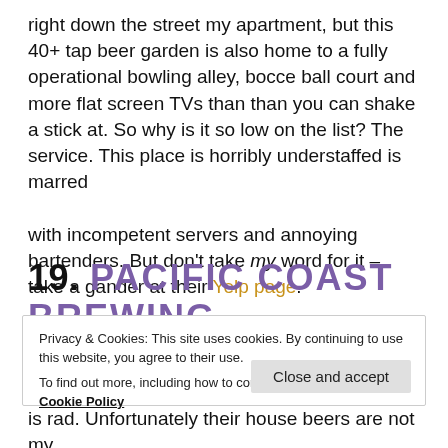right down the street my apartment, but this 40+ tap beer garden is also home to a fully operational bowling alley, bocce ball court and more flat screen TVs than than you can shake a stick at. So why is it so low on the list? The service. This place is horribly understaffed is marred with incompetent servers and annoying bartenders. But don't take my word for it – take a gander at their Yelp page.
19. PACIFIC COAST BREWING
Privacy & Cookies: This site uses cookies. By continuing to use this website, you agree to their use.
To find out more, including how to control cookies, see here: Cookie Policy
is rad. Unfortunately their house beers are not my